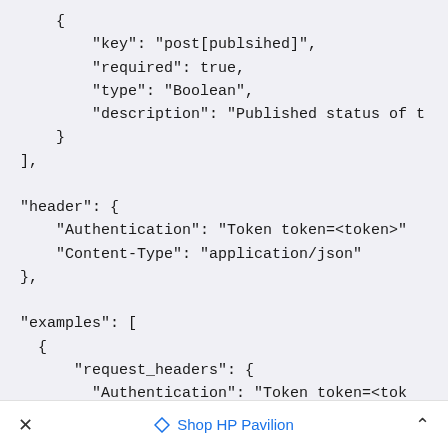{
        "key": "post[publsihed]",
        "required": true,
        "type": "Boolean",
        "description": "Published status of t
    }
],

"header": {
    "Authentication": "Token token=<token>"
    "Content-Type": "application/json"
},

"examples": [
  {
      "request_headers": {
        "Authentication": "Token token=<tok
×    Shop HP Pavilion    ^